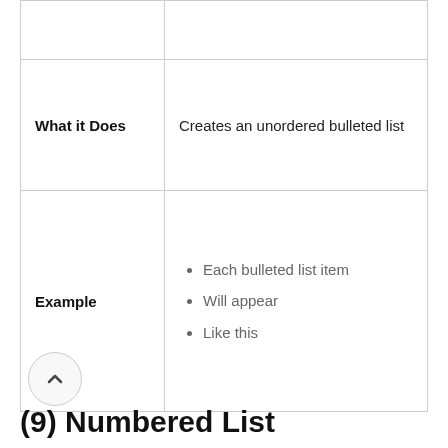|  |  |
| --- | --- |
|  |  |
| What it Does | Creates an unordered bulleted list |
| Example | • Each bulleted list item
• Will appear
• Like this |
^
(9) Numbered List